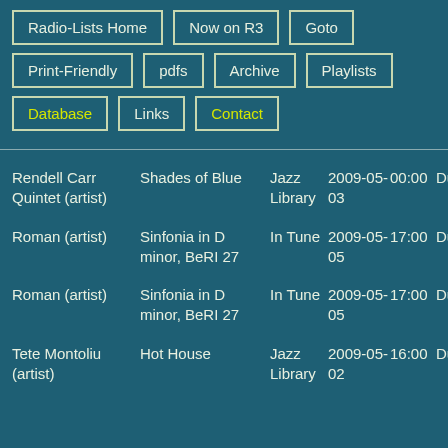Radio-Lists Home
Now on R3
Goto
Print-Friendly
pdfs
Archive
Playlists
Database
Links
Contact
| Artist | Title | Show | Date | Time | Duration |
| --- | --- | --- | --- | --- | --- |
| Rendell Carr Quintet (artist) | Shades of Blue | Jazz Library | 2009-05-03 | 00:00 | Durat |
| Roman (artist) | Sinfonia in D minor, BeRI 27 | In Tune | 2009-05-05 | 17:00 | Durat |
| Roman (artist) | Sinfonia in D minor, BeRI 27 | In Tune | 2009-05-05 | 17:00 | Durat |
| Tete Montoliu (artist) | Hot House | Jazz Library | 2009-05-02 | 16:00 | Durat |